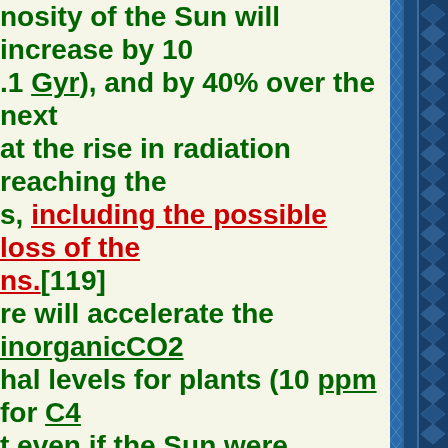nosity of the Sun will increase by 10 .1 Gyr), and by 40% over the next at the rise in radiation reaching the s, including the possible loss of the ns.[119] re will accelerate the inorganicCO2 hal levels for plants (10 ppm for C4 t even if the Sun were eternal and the Earth would have resulted in a ceans (due to lower volcanism). rface water will have completely .[121] ll expand to a red giant in about 5 expand out to about 99% of the stronomical unit, or AU). However, have expanded to about 1.7 AUs